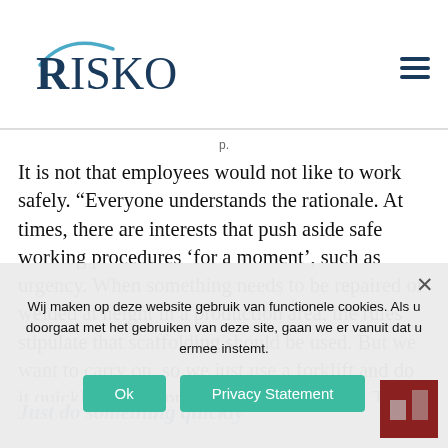RISKONET
It is not that employees would not like to work safely. “Everyone understands the rationale. At times, there are interests that push aside safe working procedures ‘for a moment’, such as urgency. When something needs to be repaired or welded at height in a production area, the rules stipulate that scaffolding should be used. But we want to carry on, so we just use a forklift and do it quickly, so that production can continue. This is all too familiar.”
Just do something quickly
Wij maken op deze website gebruik van functionele cookies. Als u doorgaat met het gebruiken van deze site, gaan we er vanuit dat u ermee instemt.